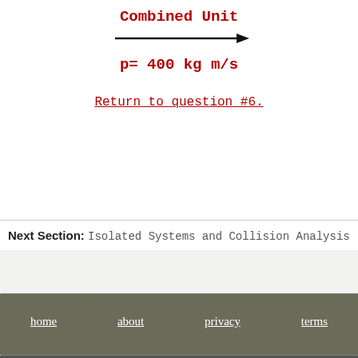Combined Unit
[Figure (other): Arrow pointing right indicating direction of motion]
Return to question #6.
Next Section: Isolated Systems and Collision Analysis
home   about   privacy   terms